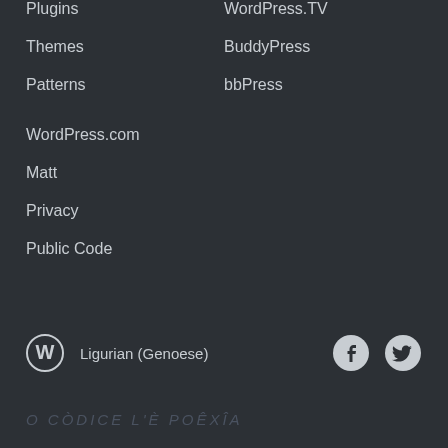Plugins
WordPress.TV
Themes
BuddyPress
Patterns
bbPress
WordPress.com
Matt
Privacy
Public Code
Ligurian (Genoese)
O CÒDICE L'È POÊXÎA